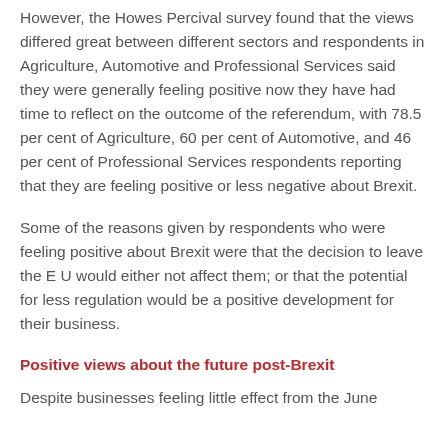However, the Howes Percival survey found that the views differed great between different sectors and respondents in Agriculture, Automotive and Professional Services said they were generally feeling positive now they have had time to reflect on the outcome of the referendum, with 78.5 per cent of Agriculture, 60 per cent of Automotive, and 46 per cent of Professional Services respondents reporting that they are feeling positive or less negative about Brexit.
Some of the reasons given by respondents who were feeling positive about Brexit were that the decision to leave the E U would either not affect them; or that the potential for less regulation would be a positive development for their business.
Positive views about the future post-Brexit
Despite businesses feeling little effect from the June